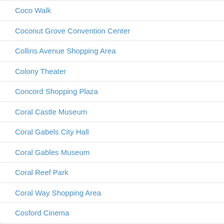Coco Walk
Coconut Grove Convention Center
Collins Avenue Shopping Area
Colony Theater
Concord Shopping Plaza
Coral Castle Museum
Coral Gabels City Hall
Coral Gables Museum
Coral Reef Park
Coral Way Shopping Area
Cosford Cinema
Country Club of Miami